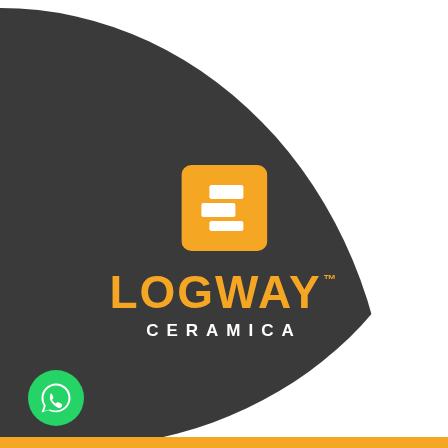[Figure (logo): Logway Ceramica brand logo with orange square icon containing white tile shapes, orange bold text LOGWAY with TM mark, and white spaced text CERAMICA below, on dark charcoal rounded background with orange bottom bar and WhatsApp icon button at bottom left]